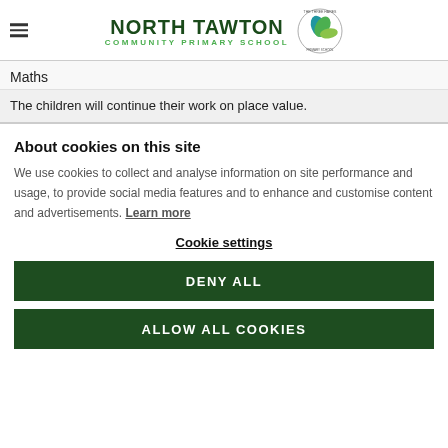NORTH TAWTON COMMUNITY PRIMARY SCHOOL
Maths
The children will continue their work on place value.
About cookies on this site
We use cookies to collect and analyse information on site performance and usage, to provide social media features and to enhance and customise content and advertisements. Learn more
Cookie settings
DENY ALL
ALLOW ALL COOKIES